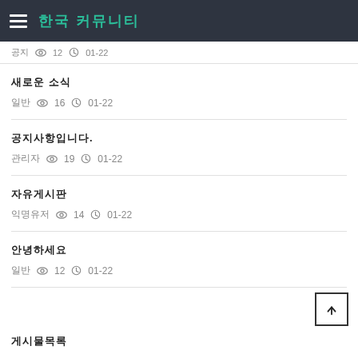한국 커뮤니티
공지 👁 12 🕐 01-22
새로운 소식
일반 👁 16 🕐 01-22
공지사항입니다.
관리자 👁 19 🕐 01-22
자유게시판
익명유저 👁 14 🕐 01-22
안녕하세요
일반 👁 12 🕐 01-22
게시물목록